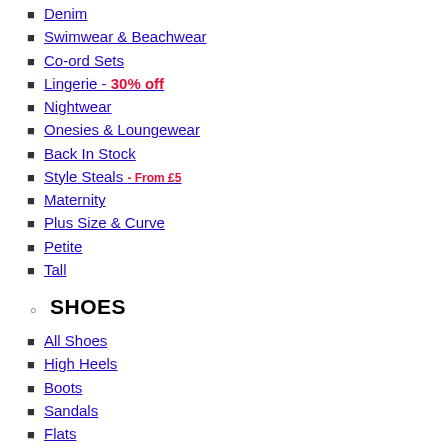Denim
Swimwear & Beachwear
Co-ord Sets
Lingerie - 30% off
Nightwear
Onesies & Loungewear
Back In Stock
Style Steals - From £5
Maternity
Plus Size & Curve
Petite
Tall
SHOES
All Shoes
High Heels
Boots
Sandals
Flats
Trainers
ACCESSORIES
All Accessories